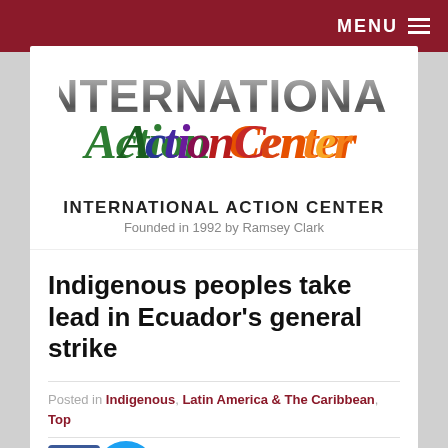MENU
[Figure (logo): International Action Center colorful text logo with large gray 'INTERNATIONAL' and colorful 'Action Center' lettering]
INTERNATIONAL ACTION CENTER
Founded in 1992 by Ramsey Clark
Indigenous peoples take lead in Ecuador's general strike
Posted in Indigenous, Latin America & The Caribbean, Top
By Michael
October 14, 2019